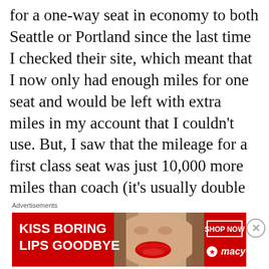for a one-way seat in economy to both Seattle or Portland since the last time I checked their site, which meant that I now only had enough miles for one seat and would be left with extra miles in my account that I couldn't use. But, I saw that the mileage for a first class seat was just 10,000 more miles than coach (it's usually double the amount or more) and would use up almost all the miles in my account. At the same
Advertisements
[Figure (photo): Macy's advertisement banner: 'KISS BORING LIPS GOODBYE' with a photo of a woman's face/lips, a 'SHOP NOW' button, and Macy's logo with red star]